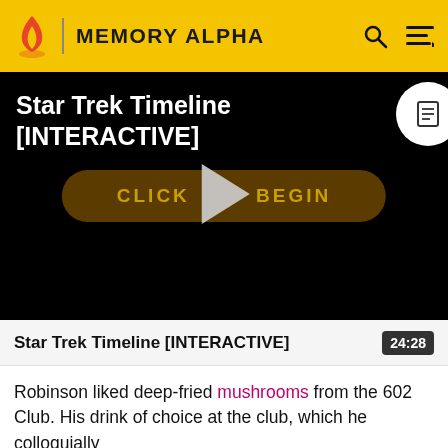MEMORY ALPHA
[Figure (screenshot): Video player with black background showing 'Star Trek Timeline [INTERACTIVE]' title, a play button, and a 'CLICK TO BEGIN' pill button. Top right has a document icon button.]
Star Trek Timeline [INTERACTIVE]
24:28
Robinson liked deep-fried mushrooms from the 602 Club. His drink of choice at the club, which he colloquially